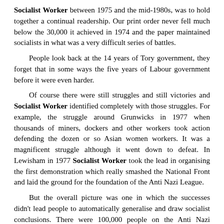Socialist Worker between 1975 and the mid-1980s, was to hold together a continual readership. Our print order never fell much below the 30,000 it achieved in 1974 and the paper maintained socialists in what was a very difficult series of battles.
People look back at the 14 years of Tory government, they forget that in some ways the five years of Labour government before it were even harder.
Of course there were still struggles and still victories and Socialist Worker identified completely with those struggles. For example, the struggle around Grunwicks in 1977 when thousands of miners, dockers and other workers took action defending the dozen or so Asian women workers. It was a magnificent struggle although it went down to defeat. In Lewisham in 1977 Socialist Worker took the lead in organising the first demonstration which really smashed the National Front and laid the ground for the foundation of the Anti Nazi League.
But the overall picture was one in which the successes didn't lead people to automatically generalise and draw socialist conclusions. There were 100,000 people on the Anti Nazi League carnivals, that didn't mean that those 100,000 people drew a conclusion in favour of the overthrow of capitalism. For many it was enough to beat the Nazis.